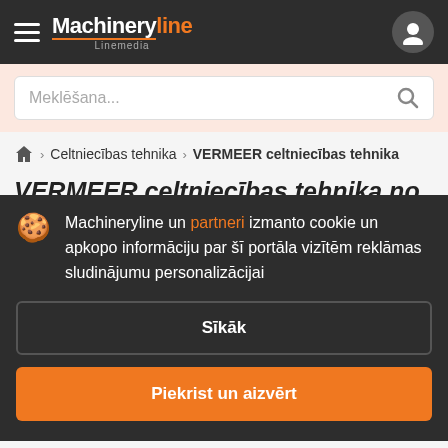Machineryline Linemedia
Meklēšana...
Celtniecības tehnika > VERMEER celtniecības tehnika
VERMEER celtniecības tehnika no Eiropas
Machineryline un partneri izmanto cookie un apkopo informāciju par šī portāla vizītēm reklāmas sludinājumu personalizācijai
Sīkāk
Piekrist un aizvērt
VERMEER celtniecības tehnika